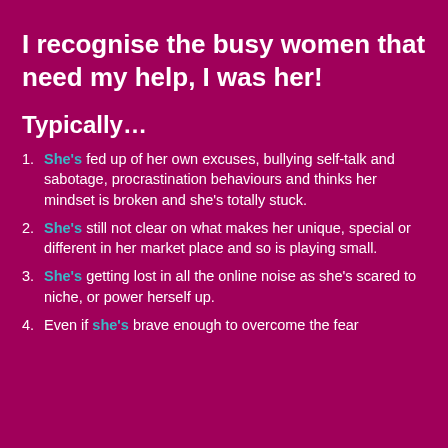I recognise the busy women that need my help, I was her!
Typically…
She's fed up of her own excuses, bullying self-talk and sabotage, procrastination behaviours and thinks her mindset is broken and she's totally stuck.
She's still not clear on what makes her unique, special or different in her market place and so is playing small.
She's getting lost in all the online noise as she's scared to niche, or power herself up.
Even if she's brave enough to overcome the fear